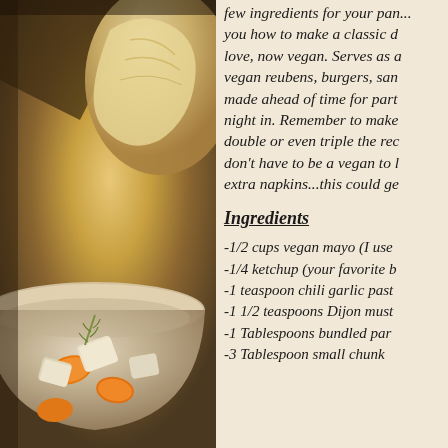[Figure (photo): A ceramic bowl filled with chunked carrots, turnips, and vegetables with a sprig of rosemary, photographed from above on a warm brown background.]
few ingredients for your pan... you how to make a classic dish you love, now vegan. Serves as a vegan reubens, burgers, sandwiches, made ahead of time for parties or a night in. Remember to make, double or even triple the recipe, you don't have to be a vegan to love. extra napkins...this could ge
Ingredients
-1/2 cups vegan mayo (I use...
-1/4 ketchup (your favorite b...
-1 teaspoon chili garlic past...
-1 1/2 teaspoons Dijon must...
-1 Tablespoons bundled par...
-3 Tablespoon small chunk...